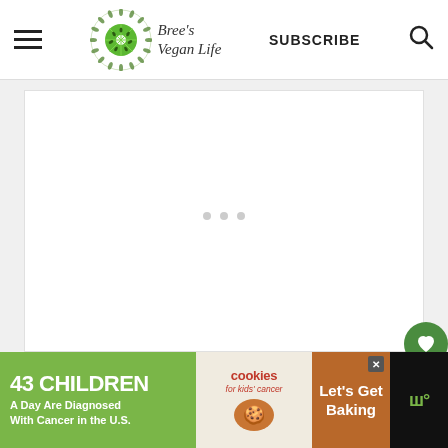Bree's Vegan Life — SUBSCRIBE
[Figure (screenshot): Website screenshot of Bree's Vegan Life blog. Header with hamburger menu, circular kiwi logo, site name in italic script, SUBSCRIBE text, and search icon. Main content area is a white box on light grey background with three small grey loading dots. Floating green heart button and white share button on right side. Bottom ad banner for '43 Children A Day Are Diagnosed With Cancer in the U.S.' with cookies for kids cancer and Let's Get Baking advertisement.]
43 CHILDREN A Day Are Diagnosed With Cancer in the U.S. cookies for kids' cancer Let's Get Baking